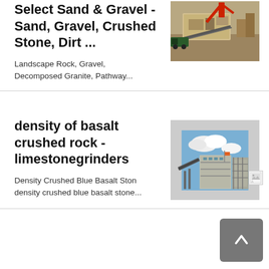Select Sand & Gravel - Sand, Gravel, Crushed Stone, Dirt ...
Landscape Rock, Gravel, Decomposed Granite, Pathway...
[Figure (photo): Aerial view of a sand and gravel crushing machine/plant with trucks and red crane arm at a quarry site]
density of basalt crushed rock - limestonegrinders
Density Crushed Blue Basalt Ston density crushed blue basalt stone...
[Figure (photo): Industrial limestone grinding or crushing plant facility with conveyor belts and blue sky with clouds]
[Figure (photo): Small broken/loading image icon]